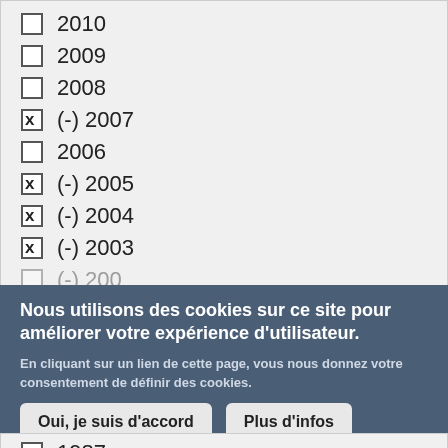2010
2009
2008
(-) 2007
2006
(-) 2005
(-) 2004
(-) 2003
Nous utilisons des cookies sur ce site pour améliorer votre expérience d'utilisateur.
En cliquant sur un lien de cette page, vous nous donnez votre consentement de définir des cookies.
Oui, je suis d'accord | Plus d'infos
1987